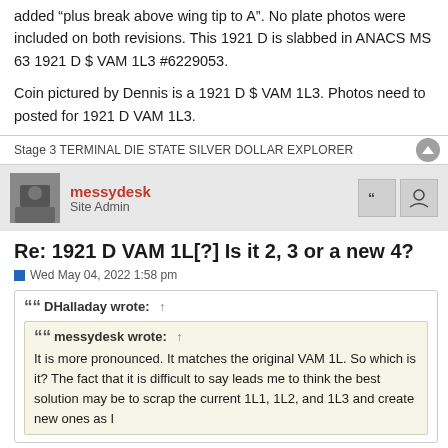added "plus break above wing tip to A". No plate photos were included on both revisions. This 1921 D is slabbed in ANACS MS 63 1921 D $ VAM 1L3 #6229053.
Coin pictured by Dennis is a 1921 D $ VAM 1L3. Photos need to posted for 1921 D VAM 1L3.
Stage 3 TERMINAL DIE STATE SILVER DOLLAR EXPLORER
messydesk
Site Admin
Re: 1921 D VAM 1L[?] Is it 2, 3 or a new 4?
Wed May 04, 2022 1:58 pm
DHalladay wrote: ↑
messydesk wrote: ↑
It is more pronounced. It matches the original VAM 1L. So which is it? The fact that it is difficult to say leads me to think the best solution may be to scrap the current 1L1, 1L2, and 1L3 and create new ones as I